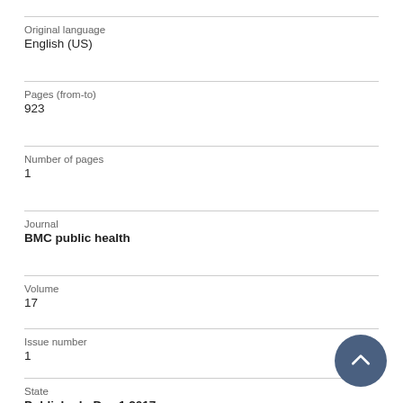Original language
English (US)
Pages (from-to)
923
Number of pages
1
Journal
BMC public health
Volume
17
Issue number
1
State
Published - Dec 1 2017